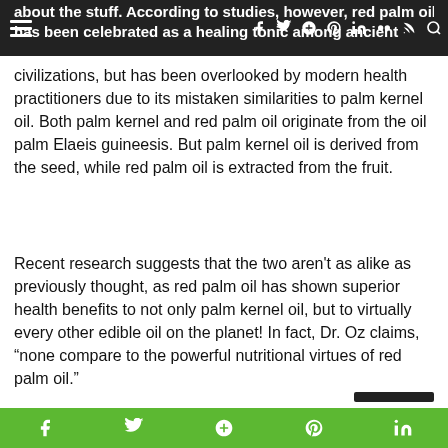Navigation bar with hamburger menu and social icons
about the stuff.  According to studies, however, red palm oil has been celebrated as a healing tonic among ancient civilizations, but has been overlooked by modern health practitioners due to its mistaken similarities to palm kernel oil.  Both palm kernel and red palm oil originate from the oil palm Elaeis guineesis.  But palm kernel oil is derived from the seed, while red palm oil is extracted from the fruit.
Recent research suggests that the two aren't as alike as previously thought, as red palm oil has shown superior health benefits to not only palm kernel oil, but to virtually every other edible oil on the planet! In fact, Dr. Oz claims, “none compare to the powerful nutritional virtues of red palm oil.”
Social share icons: Facebook, Twitter, Google, Pinterest, LinkedIn